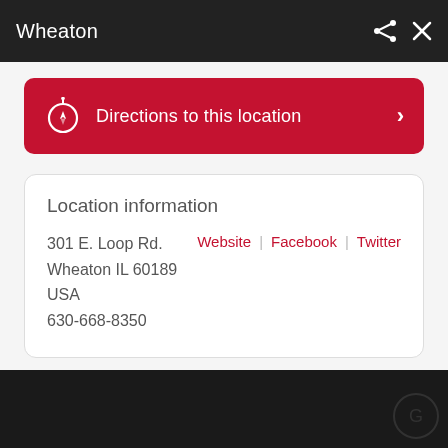Wheaton
Directions to this location
Location information
301 E. Loop Rd.
Wheaton IL 60189
USA
630-668-8350
Website | Facebook | Twitter